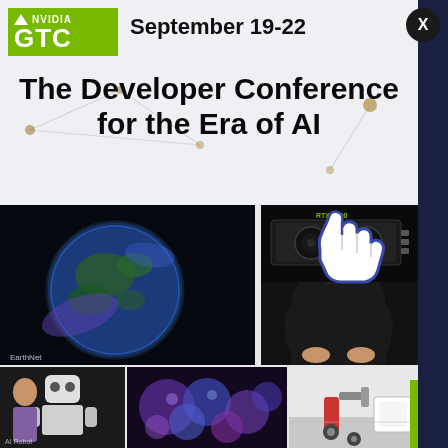[Figure (logo): NVIDIA GTC logo on green background]
September 19-22
The Developer Conference for the Era of AI
[Figure (photo): Collage of images including Earth visualization, Jensen Huang speaking, RTX 3090 GPU, robot, microscopy image, and warehouse robot. Pointer/cursor icon overlay.]